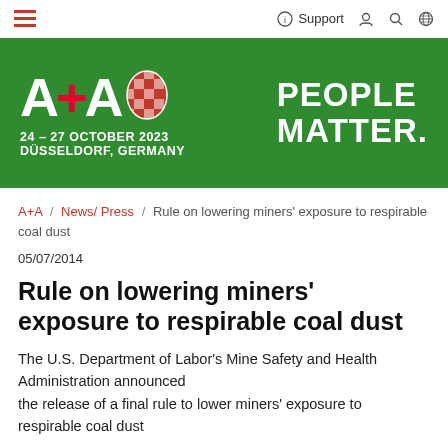Navigation bar with hamburger menu, Support link, user, search, and globe icons
[Figure (illustration): A+A trade fair banner. Green background with A+A logo in white and red, a stylized head illustration, date 24-27 October 2023, Düsseldorf, Germany, and tagline PEOPLE MATTER.]
A+A / News/ Press / Rule on lowering miners' exposure to respirable coal dust
05/07/2014
Rule on lowering miners' exposure to respirable coal dust
The U.S. Department of Labor's Mine Safety and Health Administration announced the release of a final rule to lower miners' exposure to respirable coal dust